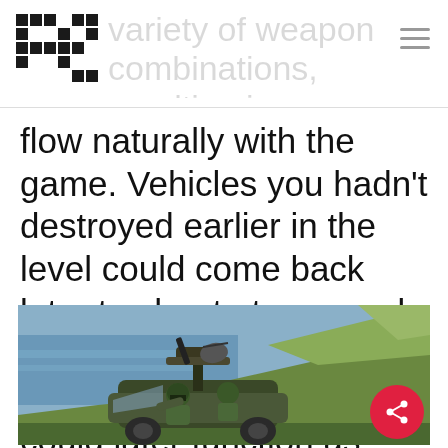[Logo] [hamburger menu]
variety of weapon combinations, resulting in outcomes that seemed to flow naturally with the game. Vehicles you hadn't destroyed earlier in the level could come back later to shoot at you, and the Marines you'd earlier saved from certain death could later function as important cannon fodder as they rode along in your Warthog.
[Figure (screenshot): Screenshot from Halo video game showing a Warthog military jeep with a gun turret driving along a coastal cliff edge, with a marine character visible in the vehicle. Water and green hills visible in background.]